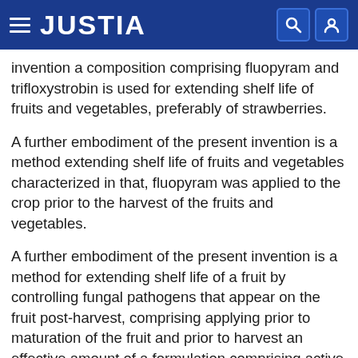JUSTIA
invention a composition comprising fluopyram and trifloxystrobin is used for extending shelf life of fruits and vegetables, preferably of strawberries.
A further embodiment of the present invention is a method extending shelf life of fruits and vegetables characterized in that, fluopyram was applied to the crop prior to the harvest of the fruits and vegetables.
A further embodiment of the present invention is a method for extending shelf life of a fruit by controlling fungal pathogens that appear on the fruit post-harvest, comprising applying prior to maturation of the fruit and prior to harvest an effective amount of a formulation comprising active ingredients that consist of fluopyram and trifloxystrobin to a growing fruit plant, wherein (1) the fruit is selected from the group consisting of blackberry, raspberry, mulberry, apricot, peach, cherry,